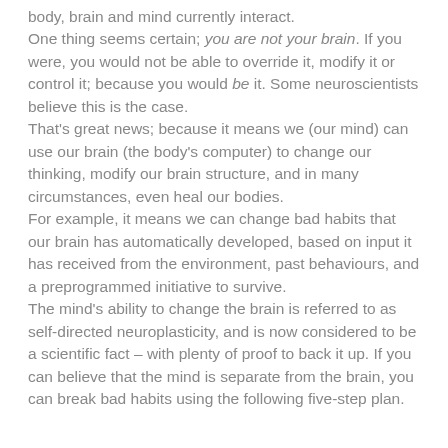body, brain and mind currently interact.
One thing seems certain; you are not your brain. If you were, you would not be able to override it, modify it or control it; because you would be it. Some neuroscientists believe this is the case.
That's great news; because it means we (our mind) can use our brain (the body's computer) to change our thinking, modify our brain structure, and in many circumstances, even heal our bodies.
For example, it means we can change bad habits that our brain has automatically developed, based on input it has received from the environment, past behaviours, and a preprogrammed initiative to survive.
The mind's ability to change the brain is referred to as self-directed neuroplasticity, and is now considered to be a scientific fact – with plenty of proof to back it up. If you can believe that the mind is separate from the brain, you can break bad habits using the following five-step plan.